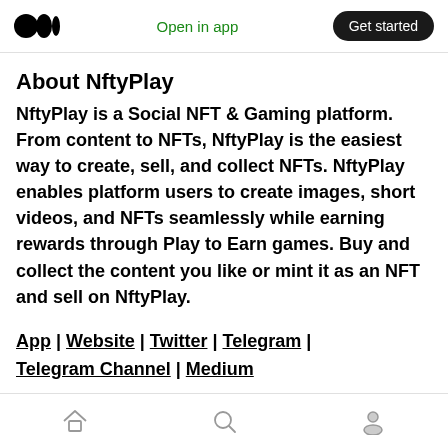Open in app | Get started
About NftyPlay
NftyPlay is a Social NFT & Gaming platform. From content to NFTs, NftyPlay is the easiest way to create, sell, and collect NFTs. NftyPlay enables platform users to create images, short videos, and NFTs seamlessly while earning rewards through Play to Earn games. Buy and collect the content you like or mint it as an NFT and sell on NftyPlay.
App | Website | Twitter | Telegram | Telegram Channel | Medium
Home | Search | Profile